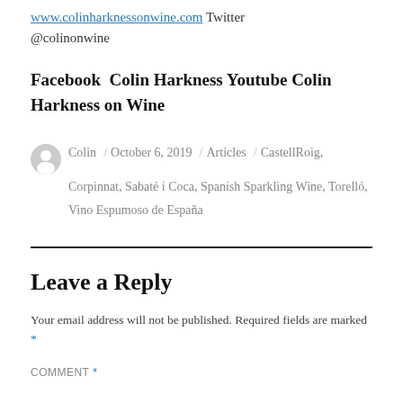www.colinharknessonwine.com Twitter @colinonwine
Facebook  Colin Harkness Youtube Colin Harkness on Wine
Colin / October 6, 2019 / Articles / CastellRoig, Corpinnat, Sabaté i Coca, Spanish Sparkling Wine, Torelló, Vino Espumoso de España
Leave a Reply
Your email address will not be published. Required fields are marked *
COMMENT *